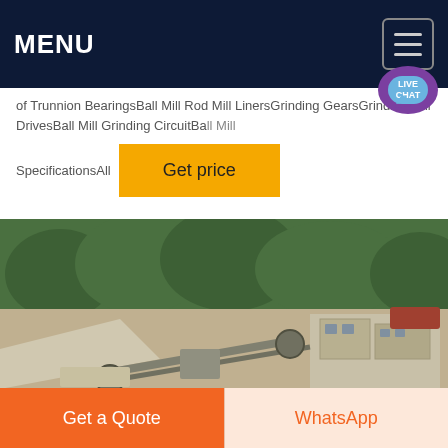MENU
of Trunnion BearingsBall Mill Rod Mill LinersGrinding GearsGrinding Mill DrivesBall Mill Grinding CircuitBall Mill SpecificationsAll
Get price
[Figure (photo): Outdoor photo of a mining/grinding mill facility showing industrial equipment, conveyor structures, and a concrete building set against a hillside with green trees in the background.]
Get a Quote
WhatsApp